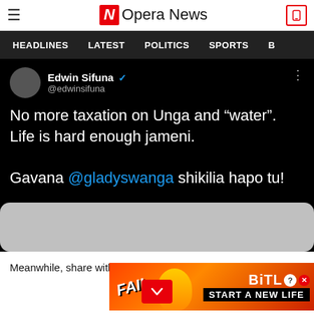Opera News
HEADLINES  LATEST  POLITICS  SPORTS
[Figure (screenshot): Tweet by Edwin Sifuna (@edwinsifuna): 'No more taxation on Unga and "water". Life is hard enough jameni. Gavana @gladyswanga shikilia hapo tu!']
Meanwhile, share with us your thoughts on the matter kindly
[Figure (illustration): BitLife advertisement banner: FAIL character with animation, BitLife START A NEW LIFE]